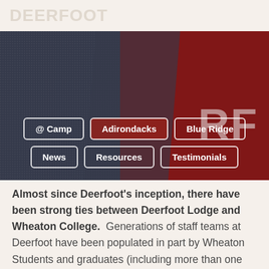DEERFOOT
[Figure (photo): Close-up photo of red and dark navy/grey fabric or clothing, possibly a camp sweater or hat, with partial white lettering visible on the right side.]
@ Camp
Adirondacks
Blue Ridge
News
Resources
Testimonials
Almost since Deerfoot's inception, there have been strong ties between Deerfoot Lodge and Wheaton College. Generations of staff teams at Deerfoot have been populated in part by Wheaton Students and graduates (including more than one Deerfoot Director)